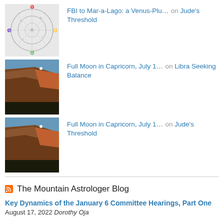FBI to Mar-a-Lago: a Venus-Plu… on Jude's Threshold
Full Moon in Capricorn, July 1… on Libra Seeking Balance
Full Moon in Capricorn, July 1… on Jude's Threshold
The Mountain Astrologer Blog
Key Dynamics of the January 6 Committee Hearings, Part One August 17, 2022 Dorothy Oja